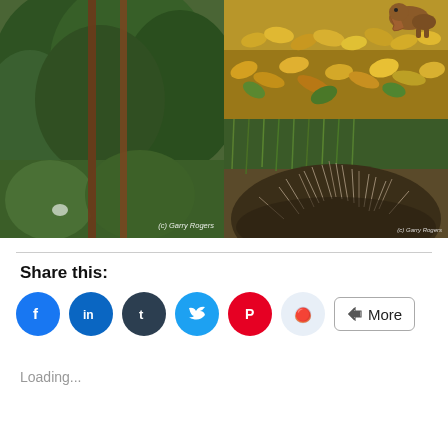[Figure (photo): Left: tall green trees/shrubs with brown fence posts, watermark '(c) Garry Rogers'. Top right: squirrel on ground covered with fallen orange/yellow leaves. Bottom right: close-up of a porcupine's spiny back with green grass background, watermark '(c) Garry Rogers'.]
Share this:
Loading...